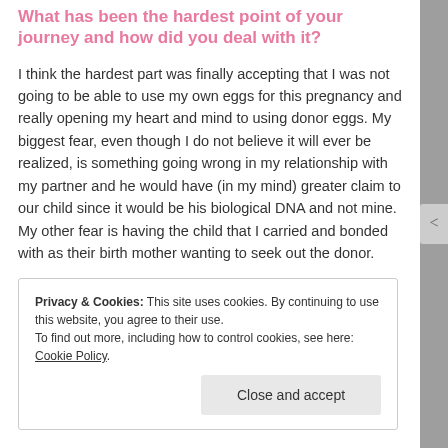What has been the hardest point of your journey and how did you deal with it?
I think the hardest part was finally accepting that I was not going to be able to use my own eggs for this pregnancy and really opening my heart and mind to using donor eggs. My biggest fear, even though I do not believe it will ever be realized, is something going wrong in my relationship with my partner and he would have (in my mind) greater claim to our child since it would be his biological DNA and not mine. My other fear is having the child that I carried and bonded with as their birth mother wanting to seek out the donor.
Privacy & Cookies: This site uses cookies. By continuing to use this website, you agree to their use. To find out more, including how to control cookies, see here: Cookie Policy